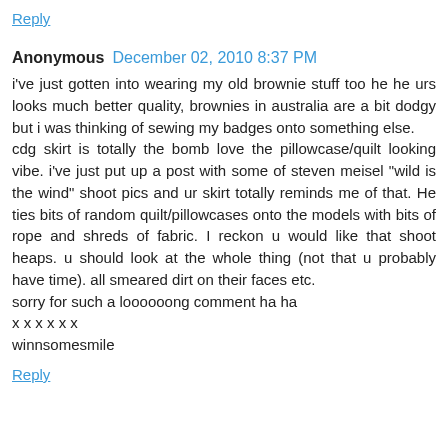Reply
Anonymous  December 02, 2010 8:37 PM
i've just gotten into wearing my old brownie stuff too he he urs looks much better quality, brownies in australia are a bit dodgy but i was thinking of sewing my badges onto something else.
cdg skirt is totally the bomb love the pillowcase/quilt looking vibe. i've just put up a post with some of steven meisel "wild is the wind" shoot pics and ur skirt totally reminds me of that. He ties bits of random quilt/pillowcases onto the models with bits of rope and shreds of fabric. I reckon u would like that shoot heaps. u should look at the whole thing (not that u probably have time). all smeared dirt on their faces etc.
sorry for such a loooooong comment ha ha
x x x x x x
winnsomesmile
Reply